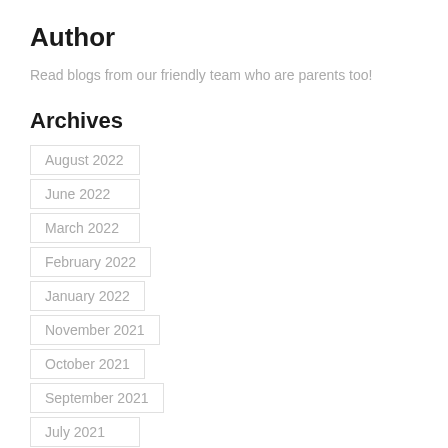Author
Read blogs from our friendly team who are parents too!
Archives
August 2022
June 2022
March 2022
February 2022
January 2022
November 2021
October 2021
September 2021
July 2021
June 2021